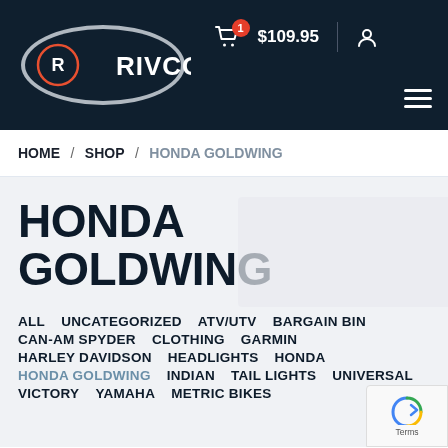[Figure (logo): RIVCO logo on dark navy header background with shopping cart icon showing badge '1', price '$109.95', user icon, and hamburger menu]
HOME / SHOP / HONDA GOLDWING
HONDA GOLDWING
ALL
UNCATEGORIZED
ATV/UTV
BARGAIN BIN
CAN-AM SPYDER
CLOTHING
GARMIN
HARLEY DAVIDSON
HEADLIGHTS
HONDA
HONDA GOLDWING
INDIAN
TAIL LIGHTS
UNIVERSAL
VICTORY
YAMAHA
METRIC BIKES